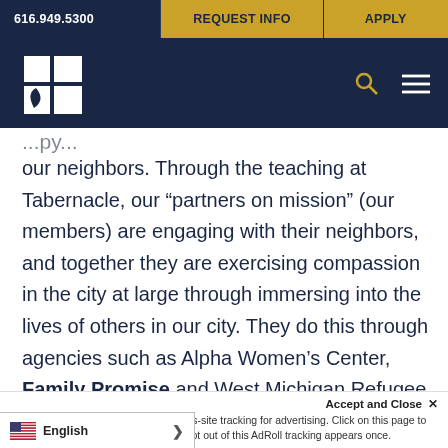616.949.5300 | REQUEST INFO | APPLY
[Figure (logo): College logo: white geometric pinwheel/leaf shape on dark navy background, with search and hamburger menu icons]
our neighbors. Through the teaching at Tabernacle, our “partners on mission” (our members) are engaging with their neighbors, and together they are exercising compassion in the city at large through immersing into the lives of others in our city. They do this through agencies such as Alpha Women’s Center, Family Promise and West Michigan Refugee Education and
Cultural Center. The most moving exa... and compassionate love
Accept and Close ×
Your browser settings do not allow cross-site tracking for advertising. Click on this page to allow tailor ads to you. Learn more or opt out of this AdRoll tracking appears once.
English >